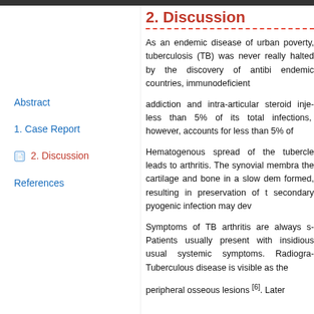2. Discussion
Abstract
1. Case Report
2. Discussion
References
As an endemic disease of urban poverty, tuberculosis (TB) was never really halted by the discovery of antibiotics. Presently, immigrants from endemic countries, immunodeficient patients, intravenous drug addiction and intra-articular steroid injections are risk factors. TB affects less than 5% of its total infections, osteoarticular involvement, however, accounts for less than 5% of
Hematogenous spread of the tubercle bacilli to the synovial membrane leads to arthritis. The synovial membrane proliferates and then invades the cartilage and bone in a slow demineralisation. A pannus is then formed, resulting in preservation of the joint space. Eventually, secondary pyogenic infection may dev
Symptoms of TB arthritis are always subacute or chronic in onset. Patients usually present with insidious onset of pain and swelling with usual systemic symptoms. Radiographically, the Phemister's triad of Tuberculous disease is visible as the peripheral osseous lesions [6]. Later